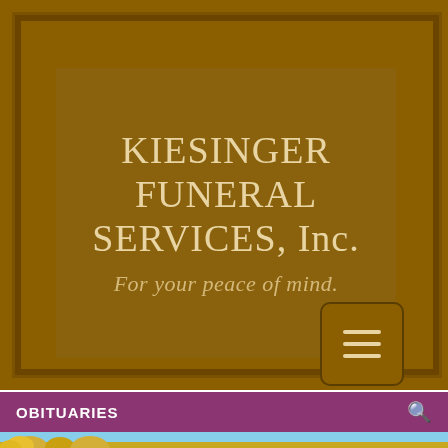KIESINGER FUNERAL SERVICES, Inc.
For your peace of mind.
[Figure (other): Hamburger menu button with three horizontal lines, brown background with dark border and rounded corners]
OBITUARIES
[Figure (photo): Bottom strip showing sunflowers against a blue sky background]